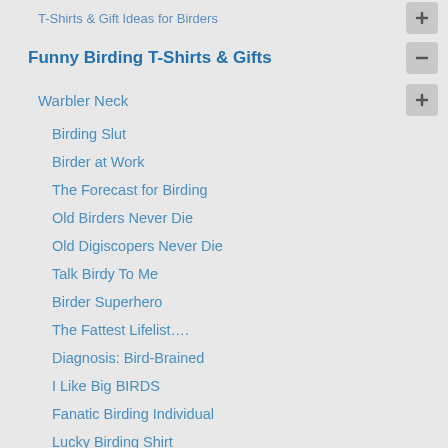T-Shirts & Gift Ideas for Birders
Funny Birding T-Shirts & Gifts
Warbler Neck
Birding Slut
Birder at Work
The Forecast for Birding
Old Birders Never Die
Old Digiscopers Never Die
Talk Birdy To Me
Birder Superhero
The Fattest Lifelist….
Diagnosis: Bird-Brained
I Like Big BIRDS
Fanatic Birding Individual
Lucky Birding Shirt
Birds Well With Others
American Dippers Like It Wet